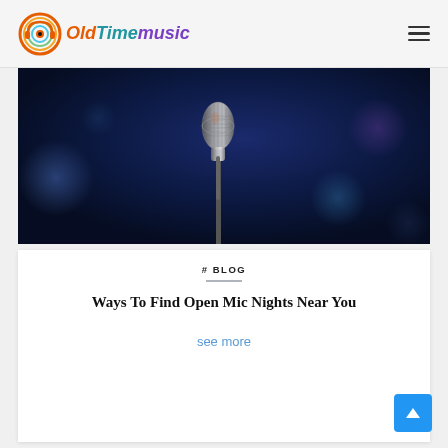OldTimemusic
[Figure (photo): A microphone on a stand lit with blue stage lighting against a dark navy background]
# BLOG
Ways To Find Open Mic Nights Near You
see more